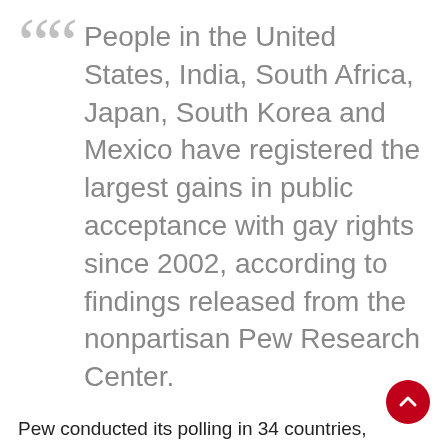People in the United States, India, South Africa, Japan, South Korea and Mexico have registered the largest gains in public acceptance with gay rights since 2002, according to findings released from the nonpartisan Pew Research Center.
Pew conducted its polling in 34 countries, including the U.S. The study finds public opinion around the world on the acceptance of gay rights is still divided by country, region and economic development, despite substantial change in laws and norms surrounding issues such as same-sex marriage and the rights of LGBTQ communities